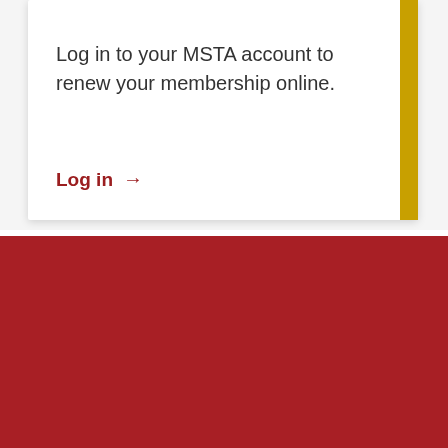Log in to your MSTA account to renew your membership online.
Log in →
Our website uses cookies to deliver safer, faster, and more customized site experiences. Please accept the use of cookies.
ACCEPT